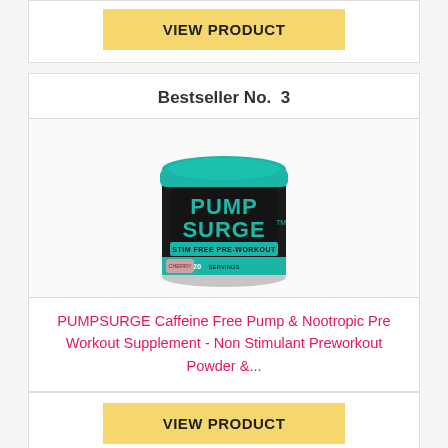[Figure (other): Yellow 'VIEW PRODUCT' button at the top of the page, partially visible card above the main product card]
Bestseller No.  3
[Figure (photo): Product photo of PUMP SURGE stim-free pre-workout supplement container with teal/black design, 20 servings]
PUMPSURGE Caffeine Free Pump & Nootropic Pre Workout Supplement - Non Stimulant Preworkout Powder &...
[Figure (other): Yellow 'VIEW PRODUCT' button at the bottom]